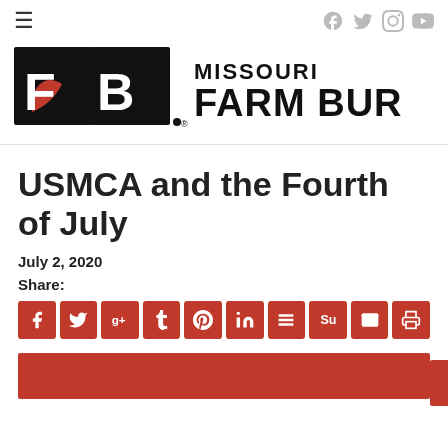Missouri Farm Bureau - navigation header with hamburger menu and social icons
[Figure (logo): Missouri Farm Bureau logo with FB lettermark in black and red, and text MISSOURI FARM BUREAU in bold black]
USMCA and the Fourth of July
July 2, 2020
Share:
[Figure (other): Row of red social sharing buttons: Facebook, Twitter, Google+, Tumblr, Pinterest, LinkedIn, Buffer, StumbleUpon, Email, Print]
[Figure (other): Red banner image at bottom of page (partial)]